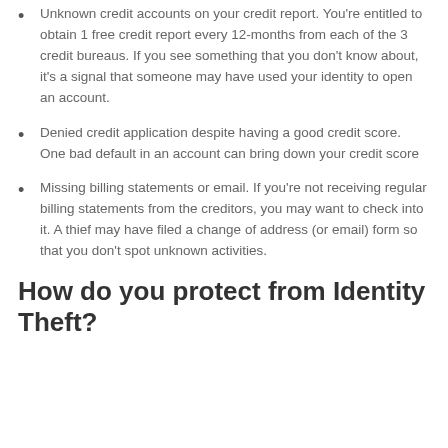Unknown credit accounts on your credit report. You're entitled to obtain 1 free credit report every 12-months from each of the 3 credit bureaus. If you see something that you don't know about, it's a signal that someone may have used your identity to open an account.
Denied credit application despite having a good credit score. One bad default in an account can bring down your credit score
Missing billing statements or email. If you're not receiving regular billing statements from the creditors, you may want to check into it. A thief may have filed a change of address (or email) form so that you don't spot unknown activities.
How do you protect from Identity Theft?